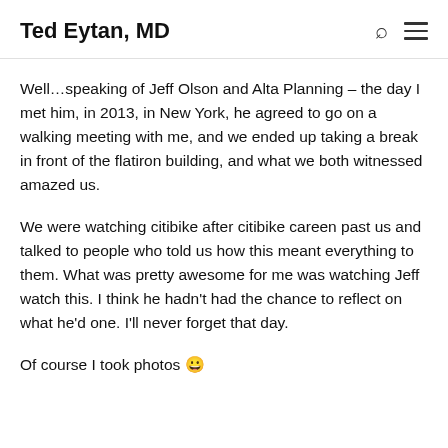Ted Eytan, MD
Well…speaking of Jeff Olson and Alta Planning – the day I met him, in 2013, in New York, he agreed to go on a walking meeting with me, and we ended up taking a break in front of the flatiron building, and what we both witnessed amazed us.
We were watching citibike after citibike careen past us and talked to people who told us how this meant everything to them. What was pretty awesome for me was watching Jeff watch this. I think he hadn't had the chance to reflect on what he'd one. I'll never forget that day.
Of course I took photos 😀